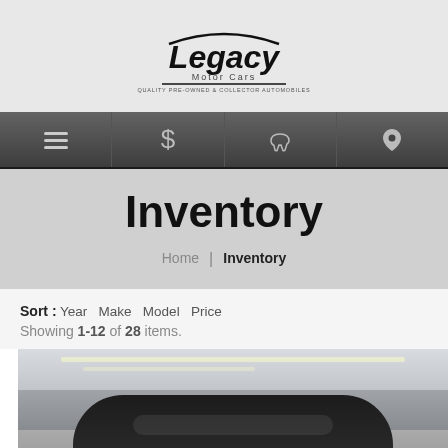[Figure (logo): Legacy Motor Cars logo with car silhouette and tagline 'Quality Pre-Owned & Collector Automobiles']
[Figure (infographic): Navigation bar with menu icon, dollar sign, phone, and location pin icons on dark gray background]
Inventory
Home | Inventory
Sort : Year  Make  Model  Price
Showing 1-12 of 28 items.
[Figure (photo): Interior of car dealership garage showing a dark colored car in the foreground with bright overhead lighting]